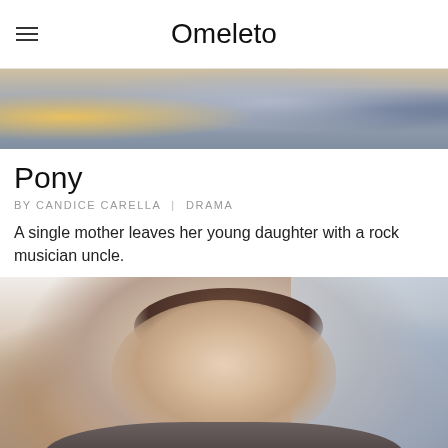Omeleto
[Figure (photo): Cropped scene from a film, showing colorful close-up imagery]
Pony
BY CANDICE CARELLA | DRAMA
A single mother leaves her young daughter with a rock musician uncle.
[Figure (photo): Portrait of a woman with dark hair in a bun, wearing hoop earrings and a fur-trimmed jacket, looking upward with a serious expression, urban background]